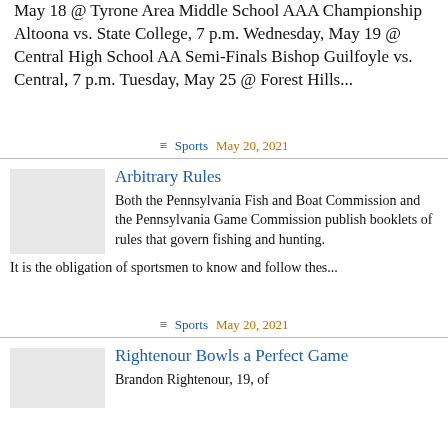May 18 @ Tyrone Area Middle School AAA Championship Altoona vs. State College, 7 p.m. Wednesday, May 19 @ Central High School AA Semi-Finals Bishop Guilfoyle vs. Central, 7 p.m. Tuesday, May 25 @ Forest Hills...
≡ Sports   May 20, 2021
Arbitrary Rules
Both the Pennsylvania Fish and Boat Commission and the Pennsylvania Game Commission publish booklets of rules that govern fishing and hunting. It is the obligation of sportsmen to know and follow thes...
≡ Sports   May 20, 2021
Rightenour Bowls a Perfect Game
Brandon Rightenour, 19, of